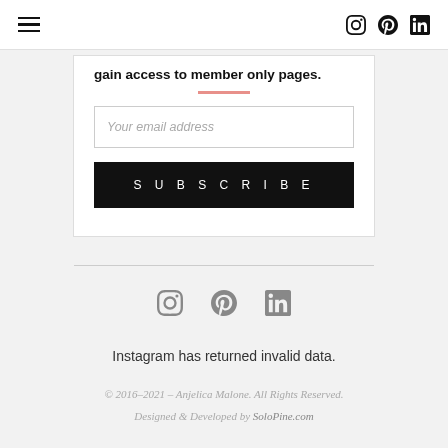Navigation bar with hamburger menu and social icons (Instagram, Pinterest, LinkedIn)
gain access to member only pages.
Your email address
SUBSCRIBE
Instagram has returned invalid data.
© 2016–2021 – Anjelica Malone. All Rights Reserved. Designed & Developed by SoloPine.com